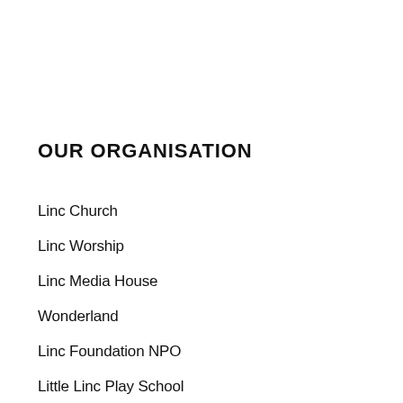OUR ORGANISATION
Linc Church
Linc Worship
Linc Media House
Wonderland
Linc Foundation NPO
Little Linc Play School
Spaces @ Linc Venue Hire